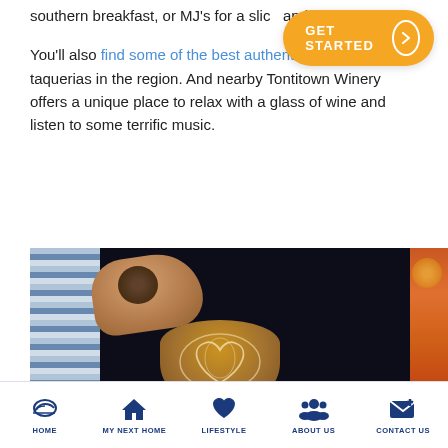southern breakfast, or MJ's for a slice and craft beers.
[Figure (other): Orange GET STARTED button with arrow circle]
You'll also find some of the best authentic Mexican taquerias in the region. And nearby Tontitown Winery offers a unique place to relax with a glass of wine and listen to some terrific music.
[Figure (photo): Photo of tattooed arm holding a latte art coffee cup against a dark background, with partial pizza image on the right edge]
HOME   MY NEXT HOME   LIFESTYLE   ABOUT US   CONTACT US